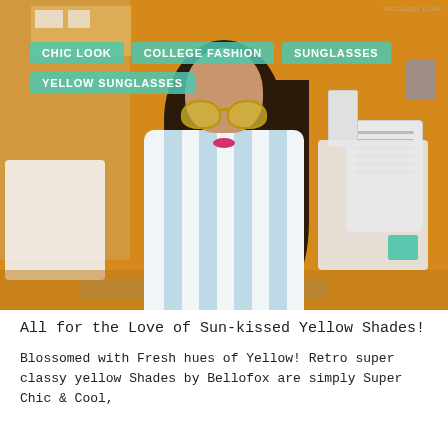[Figure (photo): Young woman wearing yellow aviator sunglasses and a blue and white striped t-shirt, seated in what appears to be a cafeteria or college setting with orange walls and white furniture/appliances in the background.]
CHIC LOOK
COLLEGE FASHION
SUNGLASSES
YELLOW SUNGLASSES
All for the Love of Sun-kissed Yellow Shades!
Blossomed with Fresh hues of Yellow! Retro super classy yellow Shades by Bellofox are simply Super Chic & Cool,